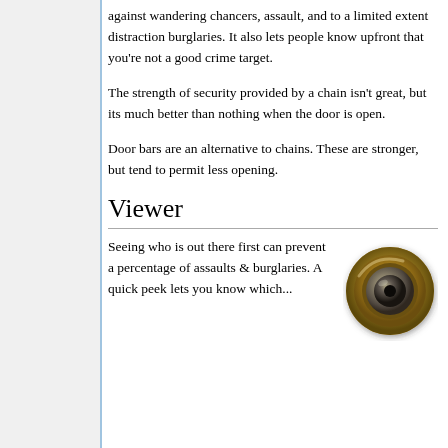against wandering chancers, assault, and to a limited extent distraction burglaries. It also lets people know upfront that you're not a good crime target.
The strength of security provided by a chain isn't great, but its much better than nothing when the door is open.
Door bars are an alternative to chains. These are stronger, but tend to permit less opening.
Viewer
Seeing who is out there first can prevent a percentage of assaults & burglaries. A quick peek lets you know which...
[Figure (photo): A brass door peephole viewer, circular, seen from inside.]